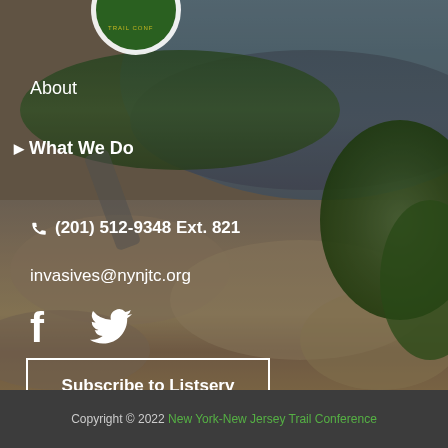[Figure (photo): Aerial or elevated landscape photo showing rocky terrain in the foreground with green vegetation, a river or lake in the middle distance, and a highway/road running along the waterway. Background shows forested hills. A circular conference badge/logo is partially visible at the top.]
About
What We Do
(201) 512-9348 Ext. 821
invasives@nynjtc.org
[Figure (logo): Facebook logo icon (white)]
[Figure (logo): Twitter bird logo icon (white)]
Subscribe to Listserv
Copyright © 2022 New York-New Jersey Trail Conference